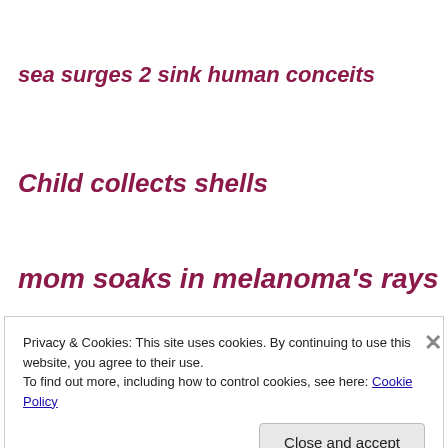sea surges 2 sink human conceits
Child collects shells
mom soaks in melanoma's rays
Privacy & Cookies: This site uses cookies. By continuing to use this website, you agree to their use.
To find out more, including how to control cookies, see here: Cookie Policy
Close and accept